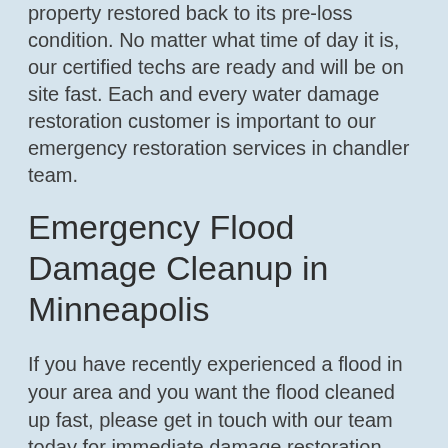property restored back to its pre-loss condition. No matter what time of day it is, our certified techs are ready and will be on site fast. Each and every water damage restoration customer is important to our emergency restoration services in chandler team.
Emergency Flood Damage Cleanup in Minneapolis
If you have recently experienced a flood in your area and you want the flood cleaned up fast, please get in touch with our team today for immediate damage restoration Minneapolis assistance. Our trained personnel will quickly provide you with a water cleanup services assessment and develop a recovery plan that is designed to quickly restore the impacted areas of your home. The weather man may predict a storm, but sometimes in certain areas, the storm will hit harder and cause more destruction than anticipated. With a flood you